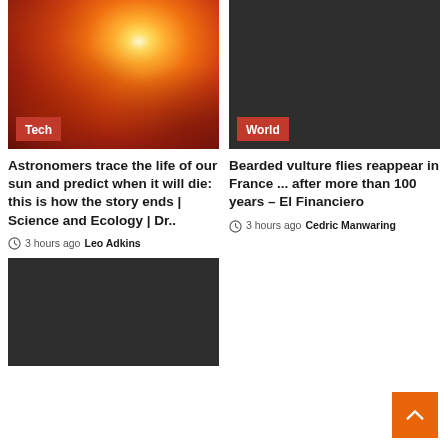[Figure (photo): Solar surface image showing bright flares and orange-red plasma activity]
Tech
[Figure (photo): Dark placeholder image for World news article]
World
Astronomers trace the life of our sun and predict when it will die: this is how the story ends | Science and Ecology | Dr..
3 hours ago  Leo Adkins
Bearded vulture flies reappear in France ... after more than 100 years – El Financiero
3 hours ago  Cedric Manwaring
[Figure (photo): Dark placeholder image for third article]